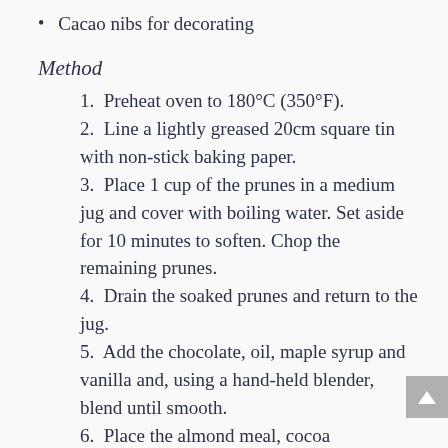Cacao nibs for decorating
Method
1.  Preheat oven to 180°C (350°F).
2.  Line a lightly greased 20cm square tin with non-stick baking paper.
3.  Place 1 cup of the prunes in a medium jug and cover with boiling water. Set aside for 10 minutes to soften. Chop the remaining prunes.
4.  Drain the soaked prunes and return to the jug.
5.  Add the chocolate, oil, maple syrup and vanilla and, using a hand-held blender, blend until smooth.
6.  Place the almond meal, cocoa